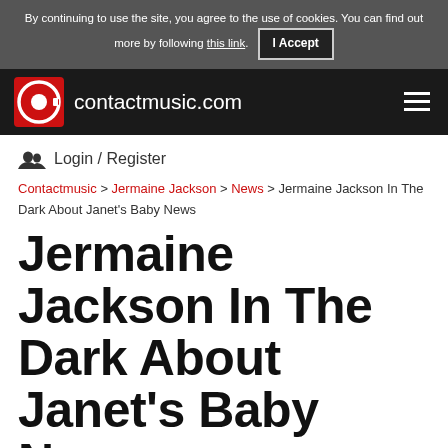By continuing to use the site, you agree to the use of cookies. You can find out more by following this link. I Accept
[Figure (logo): contactmusic.com logo with red icon and white text on black navbar with hamburger menu]
Login / Register
Contactmusic > Jermaine Jackson > News > Jermaine Jackson In The Dark About Janet's Baby News
Jermaine Jackson In The Dark About Janet's Baby News
By WENN in Music / Festivals on 09 May 2016